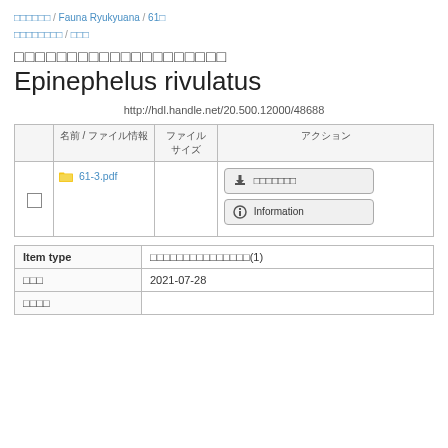□□□□□□ / Fauna Ryukyuana / 61□ □□□□□□□□ / □□□
□□□□□□□□□□□□□□□□□□□□ Epinephelus rivulatus
http://hdl.handle.net/20.500.12000/48688
|  | 名前 / ファイル情報 | ファイル
サイズ | アクション |
| --- | --- | --- | --- |
| □ | □ 61-3.pdf |  | □□□□□□□  Information |
| Item type | □□□□□□□□□□□□□□□(1) |
| --- | --- |
| □□□ | 2021-07-28 |
| □□□□ |  |